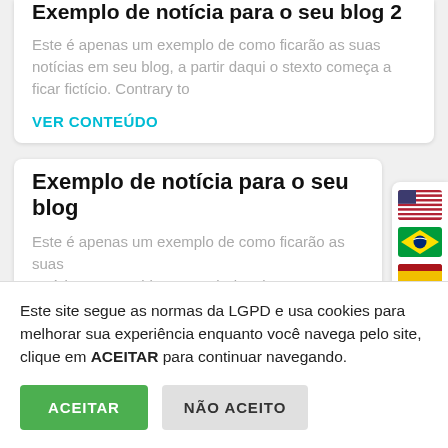Exemplo de notícia para o seu blog 2
Este é apenas um exemplo de como ficarão as suas notícias em seu blog, a partir daqui o stexto começa a ficar fictício. Contrary to
VER CONTEÚDO
Exemplo de notícia para o seu blog
Este é apenas um exemplo de como ficarão as suas notícias em seu blog...
[Figure (illustration): Language selection flags: USA flag, Brazil flag, Spain flag stacked vertically on the right side]
Este site segue as normas da LGPD e usa cookies para melhorar sua experiência enquanto você navega pelo site, clique em ACEITAR para continuar navegando.
ACEITAR   NÃO ACEITO